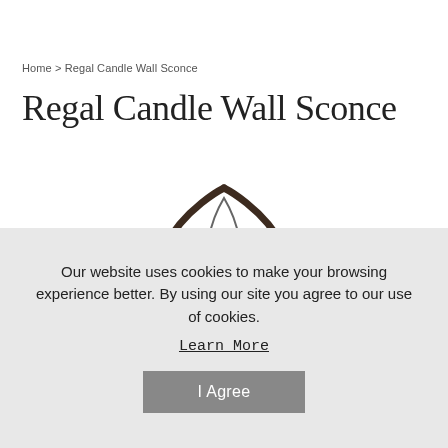Home > Regal Candle Wall Sconce
Regal Candle Wall Sconce
[Figure (photo): Product photo of a Regal Candle Wall Sconce — a decorative metal wall sconce with dark brown/black scrollwork framing a candle holder, with an ornate pointed arch shape surrounding a smaller inner candle cup holder.]
Our website uses cookies to make your browsing experience better. By using our site you agree to our use of cookies.
Learn More
I Agree